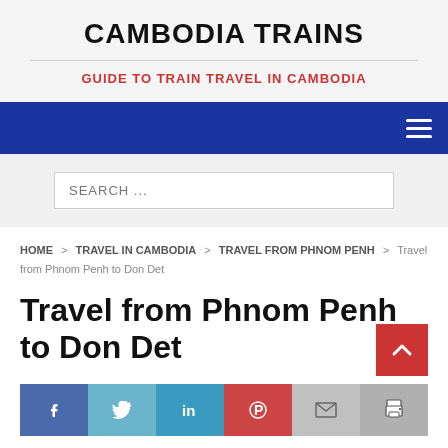CAMBODIA TRAINS
GUIDE TO TRAIN TRAVEL IN CAMBODIA
[Figure (other): Blue navigation bar with hamburger menu icon on the right]
[Figure (other): Search input box with placeholder text SEARCH ...]
HOME > TRAVEL IN CAMBODIA > TRAVEL FROM PHNOM PENH > Travel from Phnom Penh to Don Det
Travel from Phnom Penh to Don Det
[Figure (other): Social share buttons: Facebook, Twitter, LinkedIn, Pinterest, Email, Print]
The easiest way to travel from Phnom Penh to Don Det in